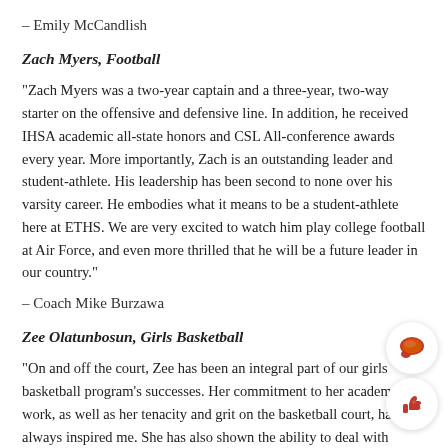– Emily McCandlish
Zach Myers, Football
“Zach Myers was a two-year captain and a three-year, two-way starter on the offensive and defensive line. In addition, he received IHSA academic all-state honors and CSL All-conference awards every year. More importantly, Zach is an outstanding leader and student-athlete. His leadership has been second to none over his varsity career. He embodies what it means to be a student-athlete here at ETHS. We are very excited to watch him play college football at Air Force, and even more thrilled that he will be a future leader in our country.”
– Coach Mike Burzawa
Zee Olatunbosun, Girls Basketball
“On and off the court, Zee has been an integral part of our girls basketball program’s successes. Her commitment to her academic work, as well as her tenacity and grit on the basketball court, have always inspired me. She has also shown the ability to deal with challenges and overcome the many hurdles she has faced during her time at ETHS. When I think back on her time on th…